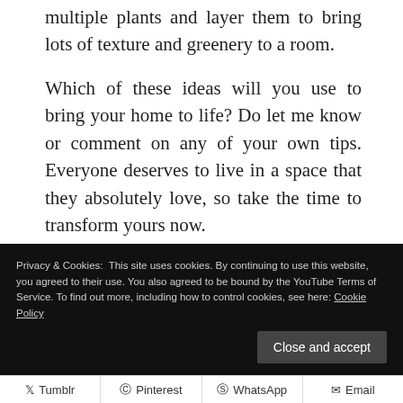multiple plants and layer them to bring lots of texture and greenery to a room.
Which of these ideas will you use to bring your home to life? Do let me know or comment on any of your own tips. Everyone deserves to live in a space that they absolutely love, so take the time to transform yours now.
Disclosure: This is a featured post. Images used with permission.
Privacy & Cookies: This site uses cookies. By continuing to use this website, you agreed to their use. You also agreed to be bound by the YouTube Terms of Service. To find out more, including how to control cookies, see here: Cookie Policy
Tumblr  Pinterest  WhatsApp  Email